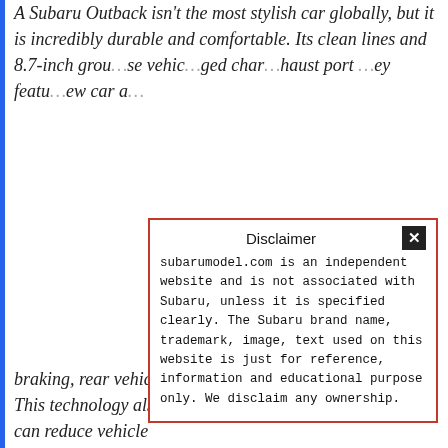A Subaru Outback isn't the most stylish car globally, but it is incredibly durable and comfortable. Its clean lines and 8.7-inch ground clearance make those vehicles well-suited and aged characters with the exhaust port and they key features brand new car a...
Disclaimer
subarumodel.com is an independent website and is not associated with Subaru, unless it is specified clearly. The Subaru brand name, trademark, image, text used on this website is just for reference, information and educational purpose only. We disclaim any ownership.
The 2...Sight safety braking, rear vehicle detection, and rear seat reminder. This technology also comes with multi-view monitors that can reduce vehicle blind spots. There are 5 other...